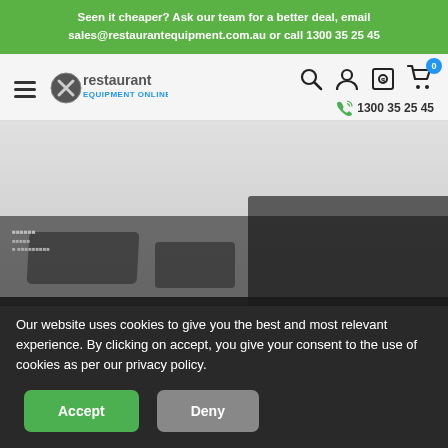Seen it cheaper? Ask our team for a better deal, email sales@restaurantequipment.com.au or call 1300 35 25 45
[Figure (logo): Restaurant Equipment Online logo with X icon and text]
1300 35 25 45
[Figure (photo): Product image area showing commercial kitchen equipment, partially visible, with dark overlay at bottom]
Our website uses cookies to give you the best and most relevant experience. By clicking on accept, you give your consent to the use of cookies as per our privacy policy.